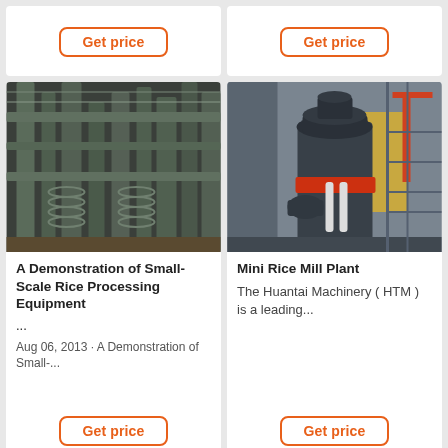[Figure (screenshot): Top-left card showing a 'Get price' button on a white card background]
[Figure (screenshot): Top-right card showing a 'Get price' button on a white card background]
[Figure (photo): Industrial photo showing pipes and processing equipment in a rice processing facility]
A Demonstration of Small-Scale Rice Processing Equipment
...
Aug 06, 2013 · A Demonstration of Small-...
[Figure (photo): Industrial photo showing a mini rice mill plant vertical machine with orange ring, in a factory setting]
Mini Rice Mill Plant
The Huantai Machinery ( HTM ) is a leading...